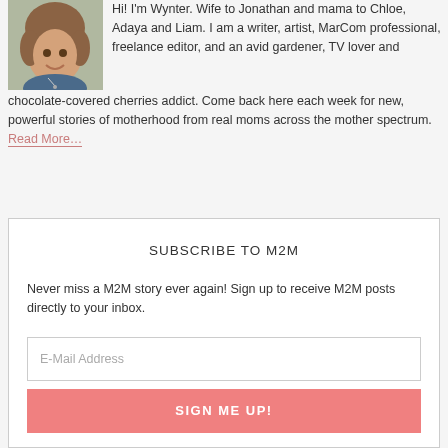[Figure (photo): Profile photo of Wynter, a woman with curly hair wearing a blue top, smiling.]
Hi! I'm Wynter. Wife to Jonathan and mama to Chloe, Adaya and Liam. I am a writer, artist, MarCom professional, freelance editor, and an avid gardener, TV lover and chocolate-covered cherries addict. Come back here each week for new, powerful stories of motherhood from real moms across the mother spectrum. Read More…
SUBSCRIBE TO M2M
Never miss a M2M story ever again! Sign up to receive M2M posts directly to your inbox.
E-Mail Address
SIGN ME UP!